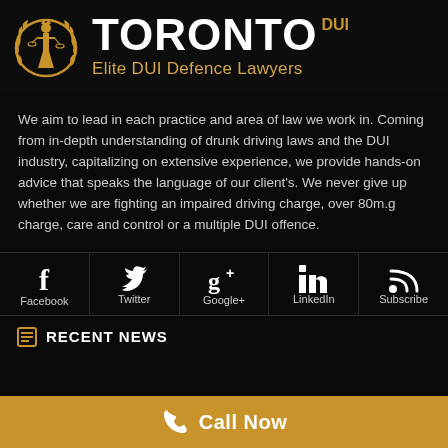[Figure (logo): Toronto DUI Elite DUI Defence Lawyers logo with Lady Justice figure in gold]
TORONTO DUI
Elite DUI Defence Lawyers
We aim to lead in each practice and area of law we work in. Coming from in-depth understanding of drunk driving laws and the DUI industry, capitalizing on extensive experience, we provide hands-on advice that speaks the language of our client's. We never give up whether we are fighting an impaired driving charge, over 80m.g charge, care and control or a multiple DUI offence.
[Figure (infographic): Social media icons row: Facebook, Twitter, Google+, LinkedIn, Subscribe]
RECENT NEWS
Call Now